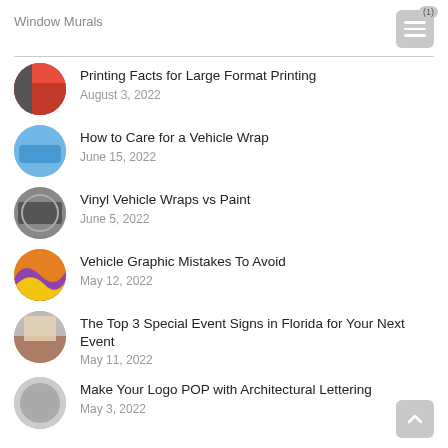Window Murals
Printing Facts for Large Format Printing
August 3, 2022
How to Care for a Vehicle Wrap
June 15, 2022
Vinyl Vehicle Wraps vs Paint
June 5, 2022
Vehicle Graphic Mistakes To Avoid
May 12, 2022
The Top 3 Special Event Signs in Florida for Your Next Event
May 11, 2022
Make Your Logo POP with Architectural Lettering
May 3, 2022